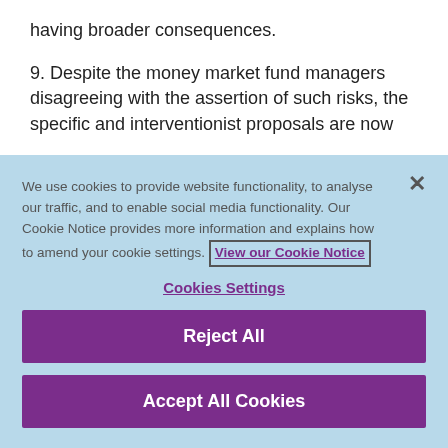having broader consequences.
9. Despite the money market fund managers disagreeing with the assertion of such risks, the specific and interventionist proposals are now
We use cookies to provide website functionality, to analyse our traffic, and to enable social media functionality. Our Cookie Notice provides more information and explains how to amend your cookie settings. View our Cookie Notice
Cookies Settings
Reject All
Accept All Cookies